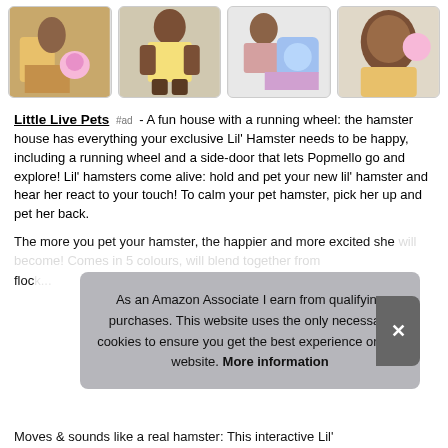[Figure (photo): Four thumbnail photos of a girl playing with Little Live Pets hamster toys]
Little Live Pets #ad - A fun house with a running wheel: the hamster house has everything your exclusive Lil' Hamster needs to be happy, including a running wheel and a side-door that lets Popmello go and explore! Lil' hamsters come alive: hold and pet your new lil' hamster and hear her react to your touch! To calm your pet hamster, pick her up and pet her back.
The more you pet your hamster, the happier and more excited she will become! Comes in 5 colours, will blend together from floc...
As an Amazon Associate I earn from qualifying purchases. This website uses the only necessary cookies to ensure you get the best experience on our website. More information
Moves & sounds like a real hamster: This interactive Lil'